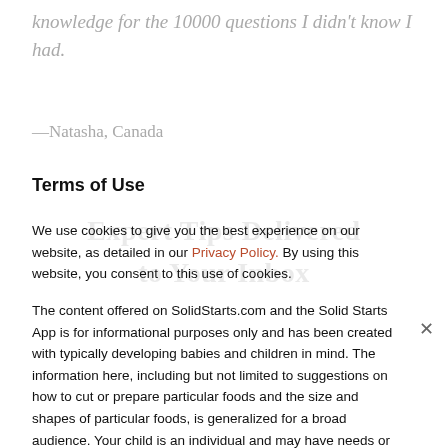knowledge for the 10000 questions I didn't know I had.
—Natasha, Canada
Terms of Use
We use cookies to give you the best experience on our website, as detailed in our Privacy Policy. By using this website, you consent to this use of cookies.
The content offered on SolidStarts.com and the Solid Starts App is for informational purposes only and has been created with typically developing babies and children in mind. The information here, including but not limited to suggestions on how to cut or prepare particular foods and the size and shapes of particular foods, is generalized for a broad audience. Your child is an individual and may have needs or considerations beyond generally accepted practices. If your child has underlying medical or developmental differences, we strongly recommend and encourage you to discuss